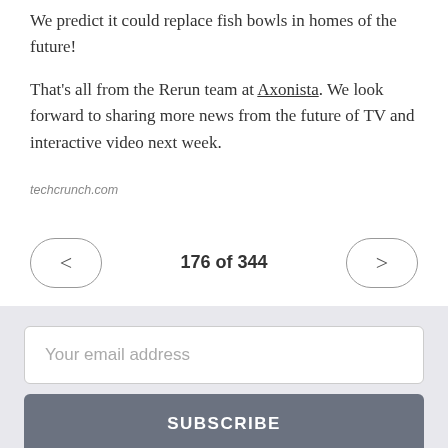We predict it could replace fish bowls in homes of the future!
That's all from the Rerun team at Axonista. We look forward to sharing more news from the future of TV and interactive video next week.
techcrunch.com
176 of 344
Your email address
SUBSCRIBE